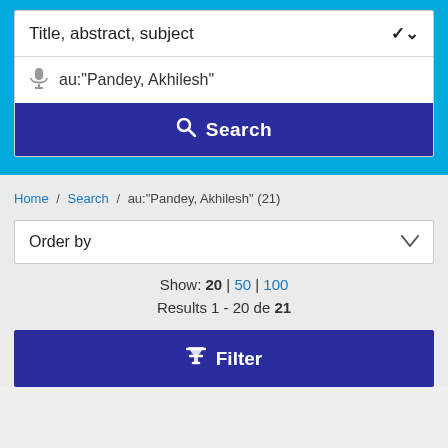Title, abstract, subject
au:"Pandey, Akhilesh"
Search
Home / Search / au:"Pandey, Akhilesh" (21)
Order by
Show: 20 | 50 | 100
Results 1 - 20 de 21
Filter